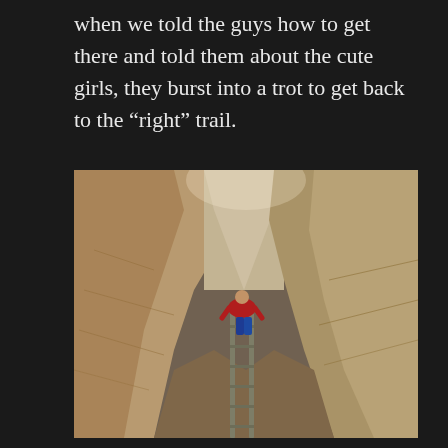when we told the guys how to get there and told them about the cute girls, they burst into a trot to get back to the “right” trail.
[Figure (photo): A person in a red jacket and blue pants climbs a metal ladder through a narrow slot canyon with tall sandstone walls on either side, viewed from above.]
At the end of the main canyon, there is a large rock pour-over, graced by a couple of metal ladders leading up to the next level. Mattie, the